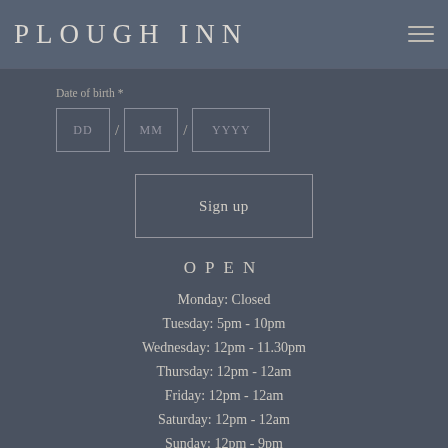PLOUGH INN
Date of birth *
DD / MM / YYYY
Sign up
OPEN
Monday: Closed
Tuesday: 5pm - 10pm
Wednesday: 12pm - 11.30pm
Thursday: 12pm - 12am
Friday: 12pm - 12am
Saturday: 12pm - 12am
Sunday: 12pm - 9pm